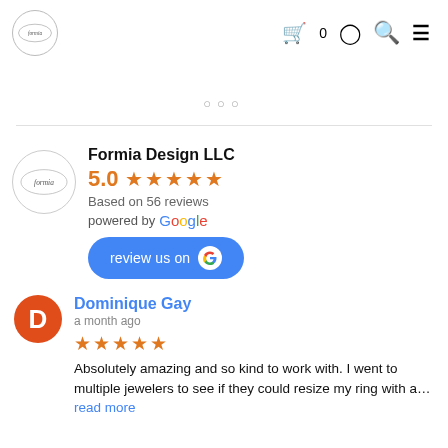Formia Design LLC — navigation header with logo, cart (0), account, search, menu icons
○○○
Formia Design LLC
5.0 ★★★★★
Based on 56 reviews
powered by Google
[review us on G button]
Dominique Gay
a month ago
★★★★★ Absolutely amazing and so kind to work with. I went to multiple jewelers to see if they could resize my ring with a… read more